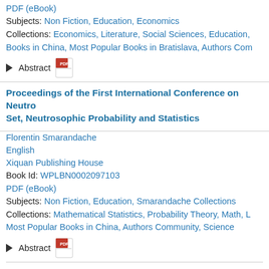PDF (eBook)
Subjects: Non Fiction, Education, Economics
Collections: Economics, Literature, Social Sciences, Education, Books in China, Most Popular Books in Bratislava, Authors Com…
▶ Abstract [PDF icon]
Proceedings of the First International Conference on Neutrosophic Set, Neutrosophic Probability and Statistics
Florentin Smarandache
English
Xiquan Publishing House
Book Id: WPLBN0002097103
PDF (eBook)
Subjects: Non Fiction, Education, Smarandache Collections
Collections: Mathematical Statistics, Probability Theory, Math, L… Most Popular Books in China, Authors Community, Science
▶ Abstract [PDF icon]
Trendsiters Digital Content and Web Technologies
Sam Vaknin